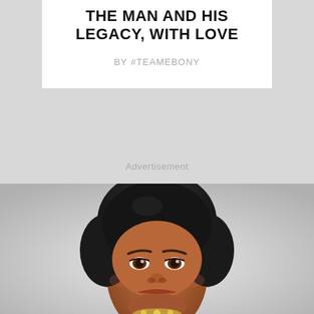THE MAN AND HIS LEGACY, WITH LOVE
BY #TEAMEBONY
Advertisement
[Figure (photo): Close-up of a Black female doll with curly upswept dark hair, brown eyes, and a subtle smile, wearing what appears to be a jeweled necklace at the bottom edge of the image.]